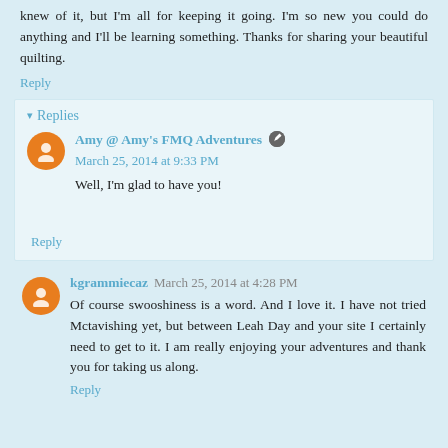knew of it, but I'm all for keeping it going. I'm so new you could do anything and I'll be learning something. Thanks for sharing your beautiful quilting.
Reply
▾ Replies
Amy @ Amy's FMQ Adventures  March 25, 2014 at 9:33 PM
Well, I'm glad to have you!
Reply
kgrammiecaz  March 25, 2014 at 4:28 PM
Of course swooshiness is a word. And I love it. I have not tried Mctavishing yet, but between Leah Day and your site I certainly need to get to it. I am really enjoying your adventures and thank you for taking us along.
Reply